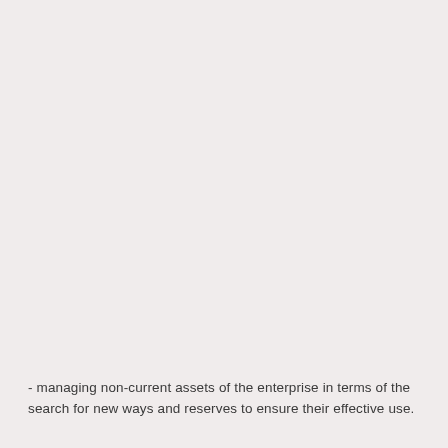- managing non-current assets of the enterprise in terms of the search for new ways and reserves to ensure their effective use.